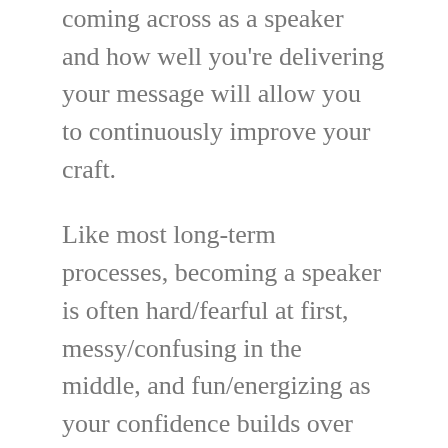coming across as a speaker and how well you're delivering your message will allow you to continuously improve your craft.
Like most long-term processes, becoming a speaker is often hard/fearful at first, messy/confusing in the middle, and fun/energizing as your confidence builds over time. Enjoy the journey that you're on, and take pride in the fact that your work – while it won't strike everyone equally – will change lives. I still remember moments of key speeches given by leaders, teachers, coaches, friends...they have all